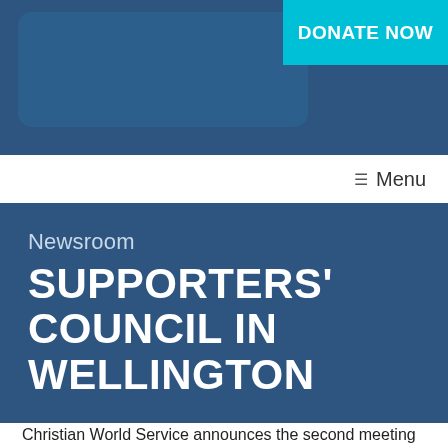[Figure (screenshot): Website header with blue background, logo placeholder box, and cyan DONATE NOW button]
☰  Menu
Newsroom
SUPPORTERS' COUNCIL IN WELLINGTON
Christian World Service announces the second meeting of the annual Supporters' Council